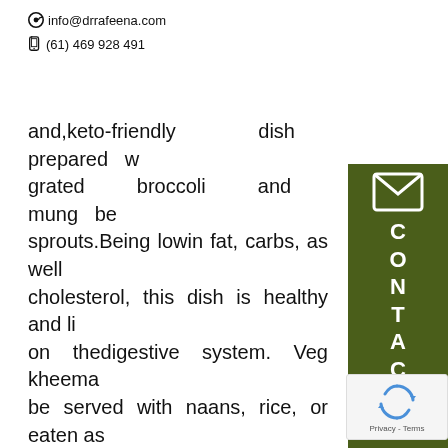info@drrafeena.com
(61) 469 928 491
and,keto-friendly dish prepared w grated broccoli and mung be sprouts.Being lowin fat, carbs, as well cholesterol, this dish is healthy and li on thedigestive system. Veg kheema be served with naans, rice, or eaten as with a salad. Ingredients 7-8 grated broccoli florets 7-8 chopped french beans 1/2 cup of mung bean sprouts 1 medium-size carrot ⅓ cup green peas boiled 2 medium-size tomatoes finely cho (optional) 1 medium-size onion or bunch of spring onions finely chopped 1
[Figure (illustration): Green contact sidebar with envelope icon and the word CONTACT written vertically in white letters on dark olive/green background]
[Figure (illustration): reCAPTCHA badge with blue recycling arrow icon and Privacy - Terms text]